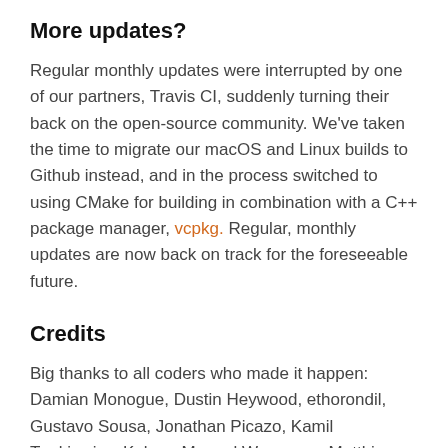More updates?
Regular monthly updates were interrupted by one of our partners, Travis CI, suddenly turning their back on the open-source community. We've taken the time to migrate our macOS and Linux builds to Github instead, and in the process switched to using CMake for building in combination with a C++ package manager, vcpkg. Regular, monthly updates are now back on track for the foreseeable future.
Credits
Big thanks to all coders who made it happen: Damian Monogue, Dustin Heywood, ethorondil, Gustavo Sousa, Jonathan Picazo, Kamil Tunkiewicz, Kebap, Manuel Wegmann, Matthias Urlichs, Mike Conley, Piotr Wilczyński, Stephen Lyons, tdk1069, Vadim Peretokin, and winloo. Of course, our fantastic translators as well: